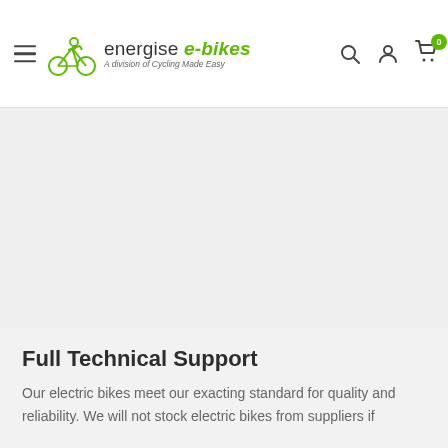energise e-bikes – A division of Cycling Made Easy
[Figure (other): Large grey placeholder image area occupying the upper-middle section of the page]
Full Technical Support
Our electric bikes meet our exacting standard for quality and reliability. We will not stock electric bikes from suppliers if